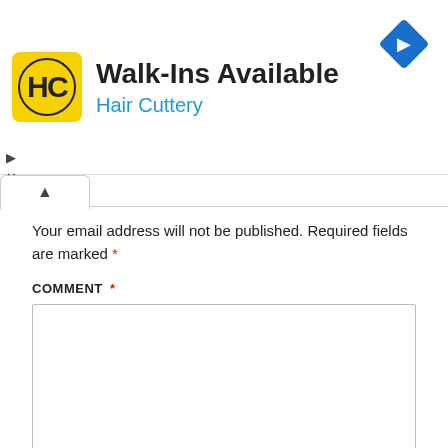[Figure (screenshot): Advertisement banner for Hair Cuttery showing Walk-Ins Available text, yellow HC logo, and blue navigation arrow icon. Controls for play (triangle) and close (X) visible on left side.]
Your email address will not be published. Required fields are marked *
COMMENT *
[Figure (screenshot): Empty comment textarea input box with resize handle in bottom right corner.]